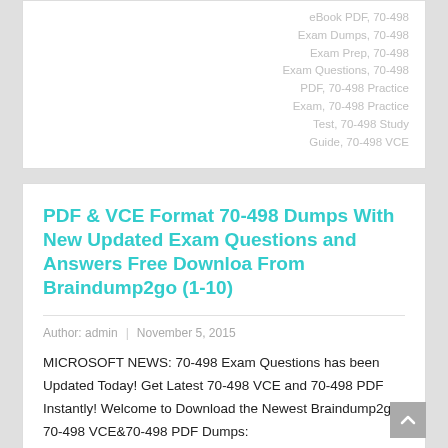eBook PDF, 70-498 Exam Dumps, 70-498 Exam Prep, 70-498 Exam Questions, 70-498 PDF, 70-498 Practice Exam, 70-498 Practice Test, 70-498 Study Guide, 70-498 VCE
PDF & VCE Format 70-498 Dumps With New Updated Exam Questions and Answers Free Downloa From Braindump2go (1-10)
Author: admin | November 5, 2015
MICROSOFT NEWS: 70-498 Exam Questions has been Updated Today! Get Latest 70-498 VCE and 70-498 PDF Instantly! Welcome to Download the Newest Braindump2go 70-498 VCE&70-498 PDF Dumps: http://www.braindump2go.com/70-498.html (140 Q&As) 2015